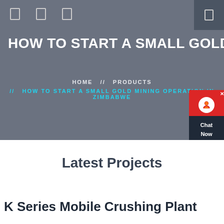HOW TO START A SMALL GOLD M…
HOME // PRODUCTS // HOW TO START A SMALL GOLD MINING OPERATION IN ZIMBABWE
Latest Projects
K Series Mobile Crushing Plant